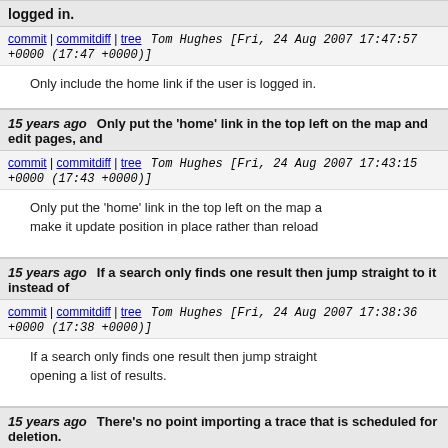logged in.
commit | commitdiff | tree Tom Hughes [Fri, 24 Aug 2007 17:47:57 +0000 (17:47 +0000)]
Only include the home link if the user is logged in.
15 years ago  Only put the 'home' link in the top left on the map and edit pages, and
commit | commitdiff | tree Tom Hughes [Fri, 24 Aug 2007 17:43:15 +0000 (17:43 +0000)]
Only put the 'home' link in the top left on the map a make it update position in place rather than reload
15 years ago  If a search only finds one result then jump straight to it instead of
commit | commitdiff | tree Tom Hughes [Fri, 24 Aug 2007 17:38:36 +0000 (17:38 +0000)]
If a search only finds one result then jump straight opening a list of results.
15 years ago  There's no point importing a trace that is scheduled for deletion.
commit | commitdiff | tree Tom Hughes [Fri, 24 Aug 2007 17: ...